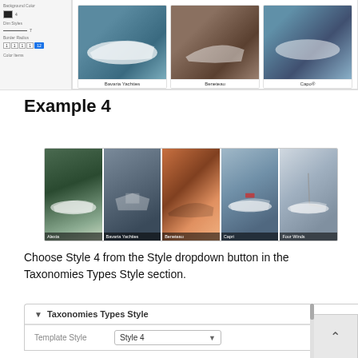[Figure (screenshot): Screenshot of a UI panel showing settings on the left and three boat brand cards (Bavaria Yachties, Beneteau, Capo®) with images at the top of the page]
Example 4
[Figure (screenshot): Gallery strip showing 5 boat images labeled: Alexia, Bavaria Yachties, Beneteau, Capri, Four Winds]
Choose Style 4 from the Style dropdown button in the Taxonomies Types Style section.
[Figure (screenshot): Settings panel showing Taxonomies Types Style section with Template Style dropdown set to Style 4]